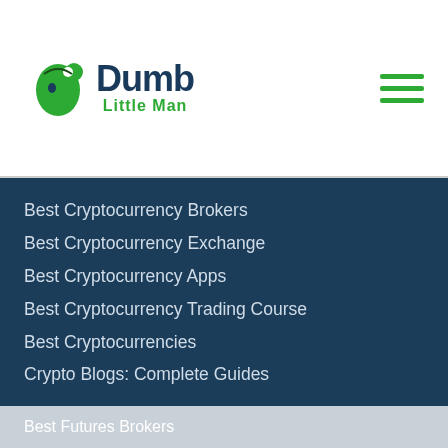[Figure (logo): Dumb Little Man logo with green puzzle-head icon and green/navy text]
Best Cryptocurrency Brokers
Best Cryptocurrency Exchange
Best Cryptocurrency Apps
Best Cryptocurrency Trading Course
Best Cryptocurrencies
Crypto Blogs: Complete Guides
Futures
Best Futures Brokers
How to Trade Futures
Best Futures Trading Software
Best Futures Trading Strategies
Best Futures Brokers